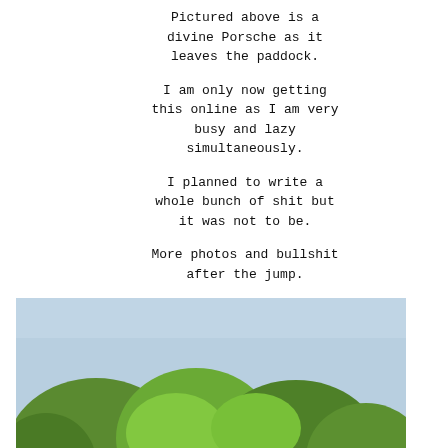Pictured above is a divine Porsche as it leaves the paddock.
I am only now getting this online as I am very busy and lazy simultaneously.
I planned to write a whole bunch of shit but it was not to be.
More photos and bullshit after the jump.
Good
Hardcore
Higher Learning
Jorge Lorenzo
Lip Balm
Mensches
Moto GP
Nissan GT-R
Not Good
Nuts
Orphaned Shoes
Paul Newman
Phil Esbenshade
Phone Camera
Photo
Poor Signage
Racing
Ron Cameron
Sanitation
The Inexplicable
Uncategorized
[Figure (photo): Photo of trees with green foliage against a light blue sky, outdoor scene]
SEARCH: